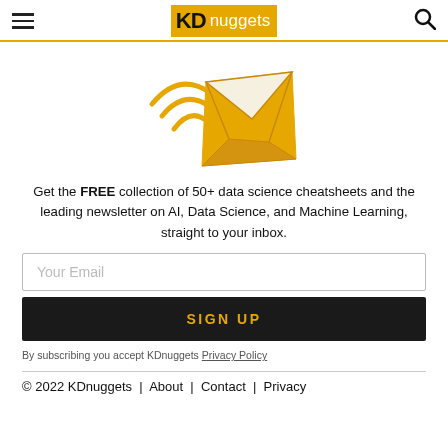KDnuggets
[Figure (illustration): Orange envelope with wifi/signal waves icon, representing newsletter subscription]
Get the FREE collection of 50+ data science cheatsheets and the leading newsletter on AI, Data Science, and Machine Learning, straight to your inbox.
Your Email
SIGN UP
By subscribing you accept KDnuggets Privacy Policy
© 2022 KDnuggets | About | Contact | Privacy